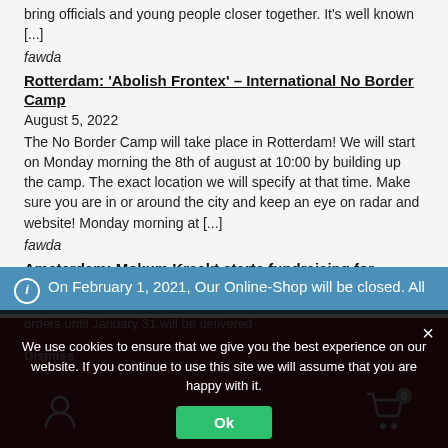bring officials and young people closer together. It's well known [...]
fawda
Rotterdam: 'Abolish Frontex' – International No Border Camp
August 5, 2022
The No Border Camp will take place in Rotterdam! We will start on Monday morning the 8th of august at 10:00 by building up the camp. The exact location we will specify at that time. Make sure you are in or around the city and keep an eye on radar and website! Monday morning at [...]
fawda
Amsterdam: Mokum Kraakt starts fundraising for comrades
On February 1, 2021, Our Online-Shop will be closed. All orders until January 31 will be delivered
Dismiss
We use cookies to ensure that we give you the best experience on our website. If you continue to use this site we will assume that you are happy with it.
Ok